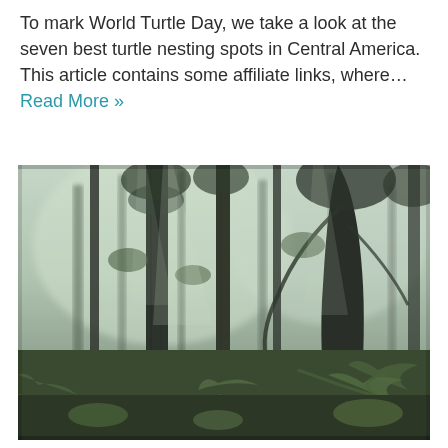To mark World Turtle Day, we take a look at the seven best turtle nesting spots in Central America. This article contains some affiliate links, where… Read More »
[Figure (photo): A misty tropical rainforest with tall dark trees, lush green ferns and undergrowth, and diffuse light filtering through the fog.]